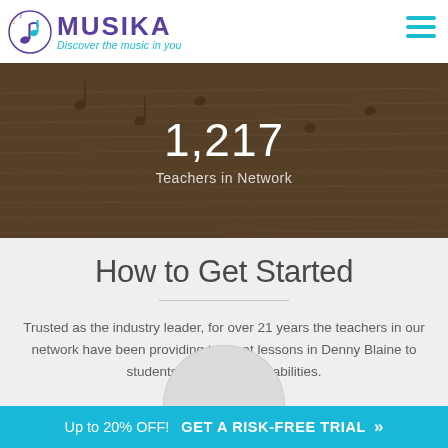MUSIKA — Discover the music in you
[Figure (screenshot): Hero banner with sheet music background showing '1,217 Teachers in Network']
1,217
Teachers in Network
How to Get Started
Trusted as the industry leader, for over 21 years the teachers in our network have been providing trumpet lessons in Denny Blaine to students of all ages and abilities.
Up to 20% OFF! GET A RISK-FREE TRIAL »